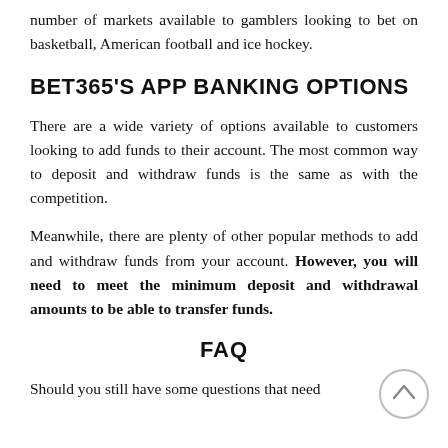number of markets available to gamblers looking to bet on basketball, American football and ice hockey.
BET365'S APP BANKING OPTIONS
There are a wide variety of options available to customers looking to add funds to their account. The most common way to deposit and withdraw funds is the same as with the competition.
Meanwhile, there are plenty of other popular methods to add and withdraw funds from your account. However, you will need to meet the minimum deposit and withdrawal amounts to be able to transfer funds.
FAQ
Should you still have some questions that need answering, then this FAQ section will be able to help.